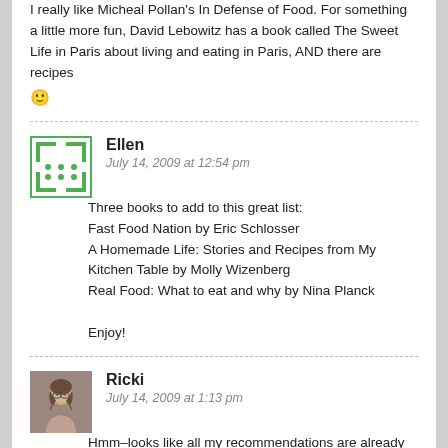I really like Micheal Pollan's In Defense of Food. For something a little more fun, David Lebowitz has a book called The Sweet Life in Paris about living and eating in Paris, AND there are recipes 🙂
Ellen
July 14, 2009 at 12:54 pm
Three books to add to this great list:
Fast Food Nation by Eric Schlosser
A Homemade Life: Stories and Recipes from My Kitchen Table by Molly Wizenberg
Real Food: What to eat and why by Nina Planck

Enjoy!
Ricki
July 14, 2009 at 1:13 pm
Hmm–looks like all my recommendations are already posted! But I did just buy Julie and Julia,